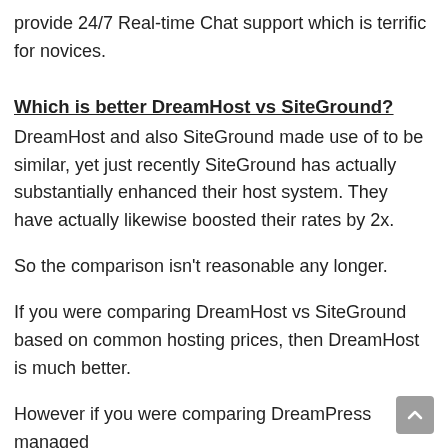provide 24/7 Real-time Chat support which is terrific for novices.
Which is better DreamHost vs SiteGround?
DreamHost and also SiteGround made use of to be similar, yet just recently SiteGround has actually substantially enhanced their host system. They have actually likewise boosted their rates by 2x.
So the comparison isn't reasonable any longer.
If you were comparing DreamHost vs SiteGround based on common hosting prices, then DreamHost is much better.
However if you were comparing DreamPress managed